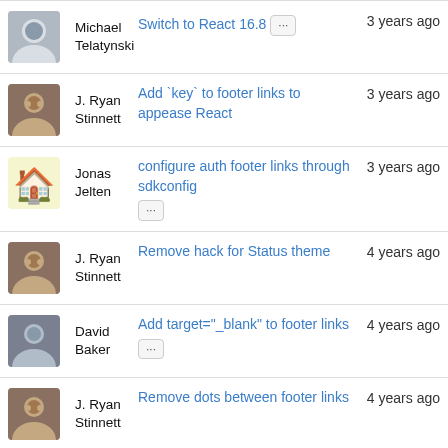Michael Telatynski | Switch to React 16.8 ... | 3 years ago
J. Ryan Stinnett | Add `key` to footer links to appease React | 3 years ago
Jonas Jelten | configure auth footer links through sdkconfig ... | 3 years ago
J. Ryan Stinnett | Remove hack for Status theme | 4 years ago
David Baker | Add target="_blank" to footer links ... | 4 years ago
J. Ryan Stinnett | Remove dots between footer links | 4 years ago